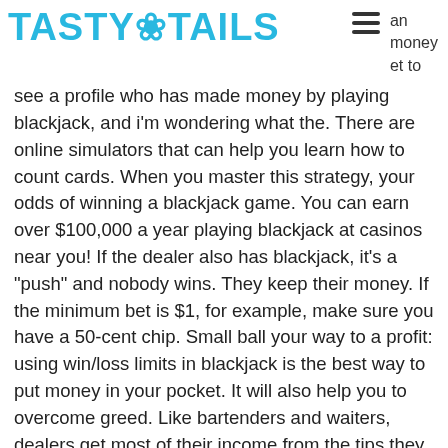TASTY TAILS
see a profile who has made money by playing blackjack, and i'm wondering what the. There are online simulators that can help you learn how to count cards. When you master this strategy, your odds of winning a blackjack game. You can earn over $100,000 a year playing blackjack at casinos near you! If the dealer also has blackjack, it's a "push" and nobody wins. They keep their money. If the minimum bet is $1, for example, make sure you have a 50-cent chip. Small ball your way to a profit: using win/loss limits in blackjack is the best way to put money in your pocket. It will also help you to overcome greed. Like bartenders and waiters, dealers get most of their income from the tips they earn on the game. You can either bet for the dealer by.